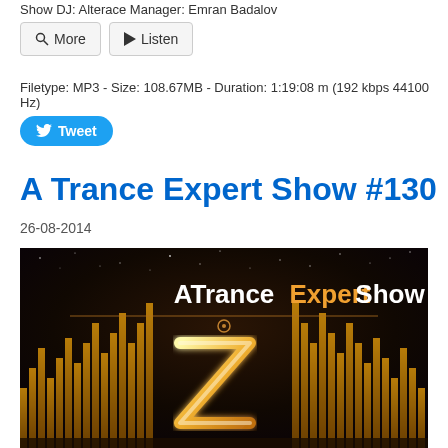Show DJ: Alterace Manager: Emran Badalov
More   Listen
Filetype: MP3 - Size: 108.67MB - Duration: 1:19:08 m (192 kbps 44100 Hz)
Tweet
A Trance Expert Show #130
26-08-2014
[Figure (photo): A Trance Expert Show logo/artwork with golden equalizer bars, stylized letter Z in gold neon light on dark background with stars]